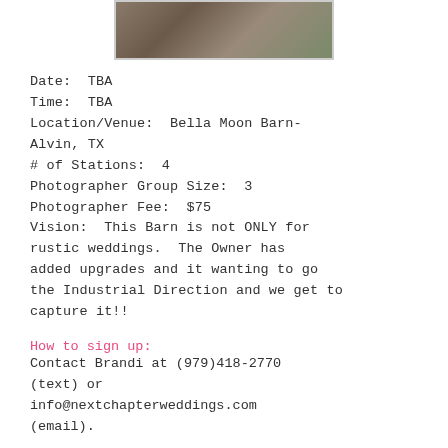[Figure (photo): Partial photo of a barn venue, cropped at top of page]
Date:  TBA
Time:  TBA
Location/Venue:  Bella Moon Barn-Alvin, TX
# of Stations:  4
Photographer Group Size:  3
Photographer Fee:  $75
Vision:  This Barn is not ONLY for rustic weddings.  The Owner has added upgrades and it wanting to go the Industrial Direction and we get to capture it!!
How to sign up:
Contact Brandi at (979)418-2770 (text) or info@nextchapterweddings.com (email).